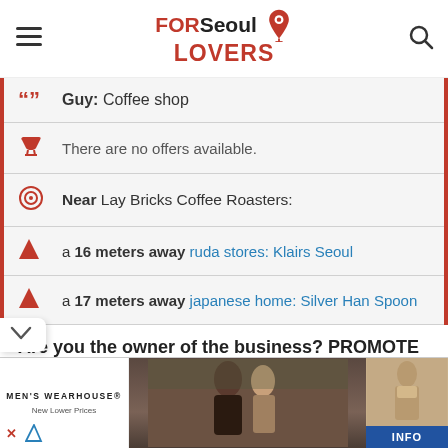FOR Seoul LOVERS
Guy: Coffee shop
There are no offers available.
Near Lay Bricks Coffee Roasters:
a 16 meters away ruda stores: Klairs Seoul
a 17 meters away japanese home: Silver Han Spoon
Are you the owner of the business? PROMOTE IT!
[Figure (photo): Men's Wearhouse advertisement banner showing a couple in formal wear and a man in a beige suit with INFO button]